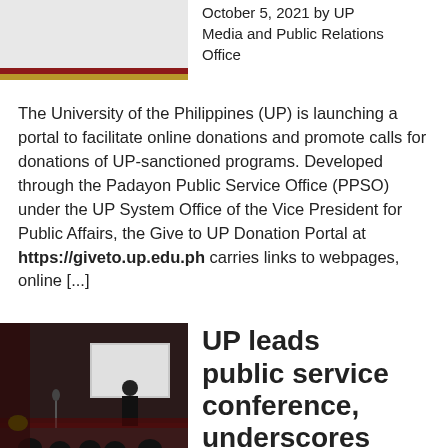[Figure (photo): UP logo or banner image with maroon and gold stripe at the bottom]
October 5, 2021 by UP Media and Public Relations Office
The University of the Philippines (UP) is launching a portal to facilitate online donations and promote calls for donations of UP-sanctioned programs. Developed through the Padayon Public Service Office (PPSO) under the UP System Office of the Vice President for Public Affairs, the Give to UP Donation Portal at https://giveto.up.edu.ph carries links to webpages, online [...]
[Figure (photo): Speaker presenting at a public service conference on stage with audience]
UP leads public service conference, underscores